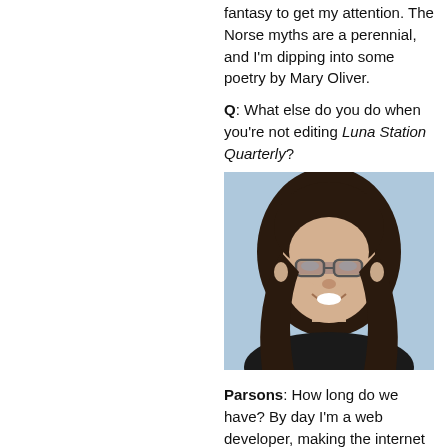fantasy to get my attention. The Norse myths are a perennial, and I'm dipping into some poetry by Mary Oliver.
Q: What else do you do when you're not editing Luna Station Quarterly?
[Figure (photo): Portrait photo of a woman with long dark hair and glasses, smiling, wearing a black top, with a light blue background.]
Parsons: How long do we have? By day I'm a web developer, making the internet